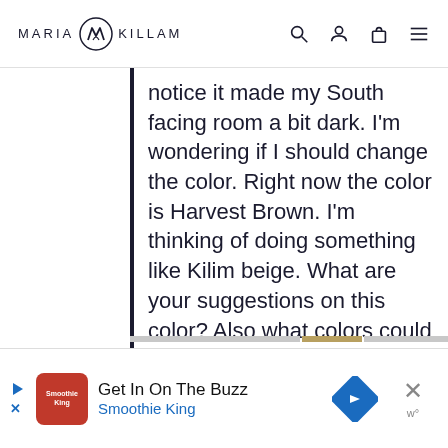MARIA KILLAM
notice it made my South facing room a bit dark. I'm wondering if I should change the color. Right now the color is Harvest Brown. I'm thinking of doing something like Kilim beige. What are your suggestions on this color? Also what colors could I use for the accent art picture? I want to keep the room contemporary yet cozy. I don't want the room to be too dark.
[Figure (screenshot): Advertisement banner for Smoothie King with 'Get In On The Buzz' text and blue navigation arrow icon]
Get In On The Buzz Smoothie King